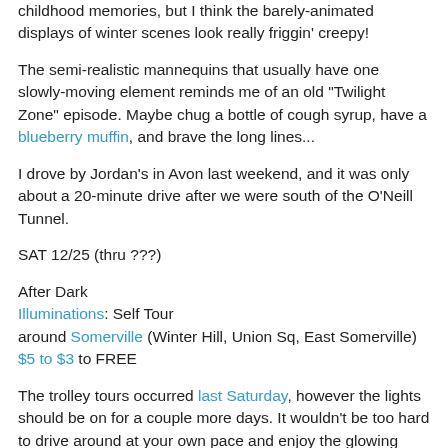childhood memories, but I think the barely-animated displays of winter scenes look really friggin' creepy!
The semi-realistic mannequins that usually have one slowly-moving element reminds me of an old "Twilight Zone" episode. Maybe chug a bottle of cough syrup, have a blueberry muffin, and brave the long lines...
I drove by Jordan's in Avon last weekend, and it was only about a 20-minute drive after we were south of the O'Neill Tunnel.
SAT 12/25 (thru ???)
After Dark
Illuminations: Self Tour
around Somerville (Winter Hill, Union Sq, East Somerville)
$5 to $3 to FREE
The trolley tours occurred last Saturday, however the lights should be on for a couple more days. It wouldn't be too hard to drive around at your own pace and enjoy the glowing